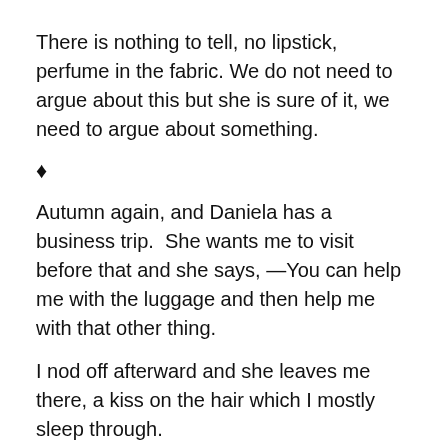There is nothing to tell, no lipstick, perfume in the fabric. We do not need to argue about this but she is sure of it, we need to argue about something.
♦
Autumn again, and Daniela has a business trip.  She wants me to visit before that and she says, —You can help me with the luggage and then help me with that other thing.
I nod off afterward and she leaves me there, a kiss on the hair which I mostly sleep through.
It is evening when I wake and my car keys are gone. Is she teaching me a lesson? Forcing me to choose?  I consider those but no, Daniela only took the keys without meaning to.  I know better than to telephone her but I try.